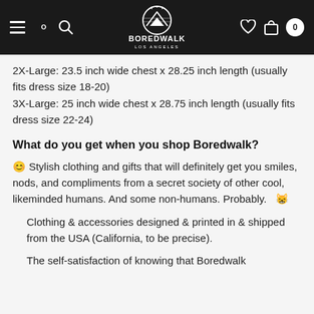[Figure (logo): Boredwalk Los Angeles logo with mountain/sunrise icon in white on black navigation bar]
2X-Large: 23.5 inch wide chest x 28.25 inch length (usually fits dress size 18-20)
3X-Large: 25 inch wide chest x 28.75 inch length (usually fits dress size 22-24)
What do you get when you shop Boredwalk?
😊 Stylish clothing and gifts that will definitely get you smiles, nods, and compliments from a secret society of other cool, likeminded humans. And some non-humans. Probably.  😸
Clothing & accessories designed & printed in & shipped from the USA (California, to be precise).
The self-satisfaction of knowing that Boredwalk